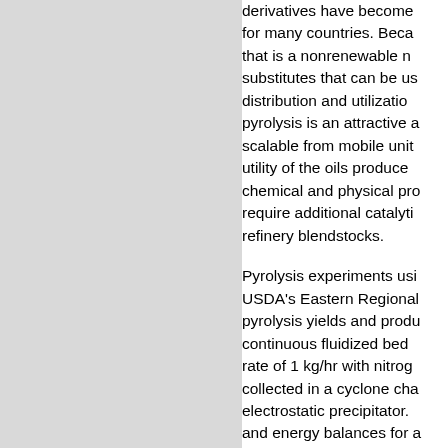[Figure (other): Gray rectangle occupying the left portion of the page, likely a figure or image placeholder.]
derivatives have become for many countries. Because that is a nonrenewable n substitutes that can be us distribution and utilization pyrolysis is an attractive a scalable from mobile unit utility of the oils produce chemical and physical pr require additional catalyti refinery blendstocks.
Pyrolysis experiments usi USDA's Eastern Regional pyrolysis yields and produ continuous fluidized bed rate of 1 kg/hr with nitro collected in a cyclone cha electrostatic precipitator. and energy balances for that included feedstock s and hydrotreatment of p implemented yield and co along with recent literatu upgrading.
About 6% of the heating